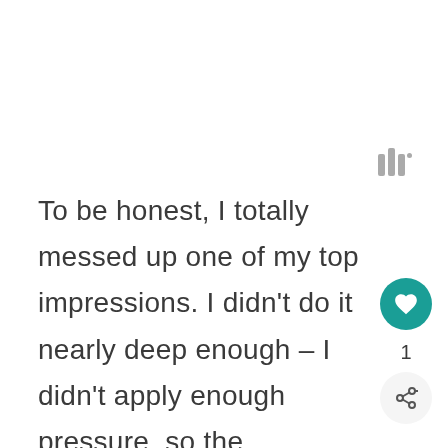[Figure (logo): Small gray icon with three vertical bars and a degree/dot symbol, resembling a watermark or app logo]
To be honest, I totally messed up one of my top impressions. I didn't do it nearly deep enough – I didn't apply enough pressure, so the impression didn't work at all. I learned my lesson, and did better on the others.